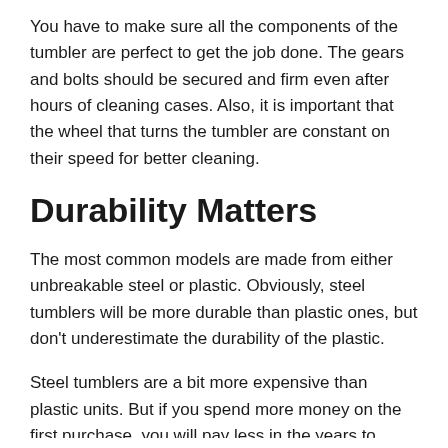You have to make sure all the components of the tumbler are perfect to get the job done. The gears and bolts should be secured and firm even after hours of cleaning cases. Also, it is important that the wheel that turns the tumbler are constant on their speed for better cleaning.
Durability Matters
The most common models are made from either unbreakable steel or plastic. Obviously, steel tumblers will be more durable than plastic ones, but don't underestimate the durability of the plastic.
Steel tumblers are a bit more expensive than plastic units. But if you spend more money on the first purchase, you will pay less in the years to come. You don't want to spend time and